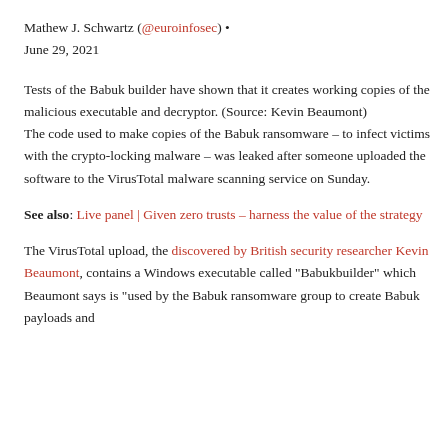Mathew J. Schwartz (@euroinfosec) • June 29, 2021
Tests of the Babuk builder have shown that it creates working copies of the malicious executable and decryptor. (Source: Kevin Beaumont)
The code used to make copies of the Babuk ransomware – to infect victims with the crypto-locking malware – was leaked after someone uploaded the software to the VirusTotal malware scanning service on Sunday.
See also: Live panel | Given zero trusts – harness the value of the strategy
The VirusTotal upload, the discovered by British security researcher Kevin Beaumont, contains a Windows executable called "Babukbuilder" which Beaumont says is "used by the Babuk ransomware group to create Babuk payloads and